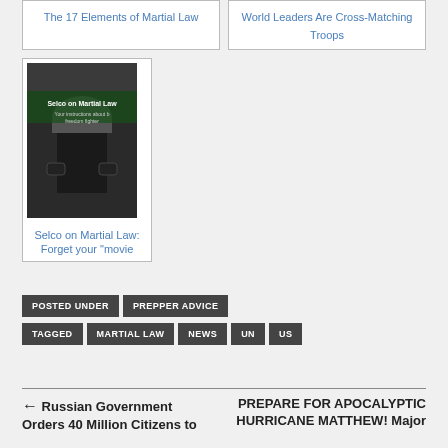The 17 Elements of Martial Law
World Leaders Are Cross-Matching Troops
[Figure (photo): Book cover for 'Selco on Martial Law' showing military/riot police imagery with dark background]
Selco on Martial Law: Forget your “movie
POSTED UNDER  PREPPER ADVICE
TAGGED  MARTIAL LAW  NEWS  UN  US
← Russian Government Orders 40 Million Citizens to
PREPARE FOR APOCALYPTIC HURRICANE MATTHEW! Major